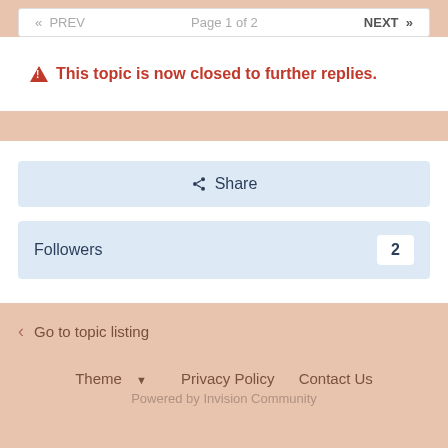« PREV   Page 1 of 2   NEXT »
⚠ This topic is now closed to further replies.
Share
Followers 2
< Go to topic listing
Theme ▼   Privacy Policy   Contact Us
Powered by Invision Community